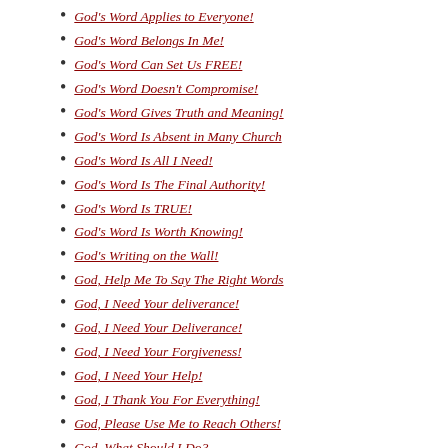God's Word Applies to Everyone!
God's Word Belongs In Me!
God's Word Can Set Us FREE!
God's Word Doesn't Compromise!
God's Word Gives Truth and Meaning!
God's Word Is Absent in Many Church
God's Word Is All I Need!
God's Word Is The Final Authority!
God's Word Is TRUE!
God's Word Is Worth Knowing!
God's Writing on the Wall!
God, Help Me To Say The Right Words
God, I Need Your deliverance!
God, I Need Your Deliverance!
God, I Need Your Forgiveness!
God, I Need Your Help!
God, I Thank You For Everything!
God, Please Use Me to Reach Others!
God, What Should I Do?
God... May Others Know YOU!
God... What A Wonder You Are!!!
God... You're Wonderful!
Godliness Brings Self Control!
Godliness Will Bless Your Life!
Godliness with Contentment...
Godly Living Is A Way Of Life...
Godly Maturity
Going Through a Layoff?
Good Job Dwayne!
Grandma's Going to Be a Republican